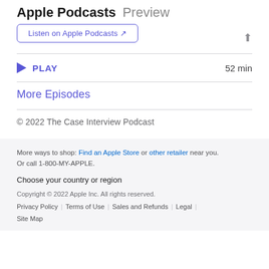Apple Podcasts Preview
Listen on Apple Podcasts ↗
PLAY  52 min
More Episodes
© 2022 The Case Interview Podcast
More ways to shop: Find an Apple Store or other retailer near you. Or call 1-800-MY-APPLE. Choose your country or region Copyright © 2022 Apple Inc. All rights reserved. Privacy Policy | Terms of Use | Sales and Refunds | Legal | Site Map